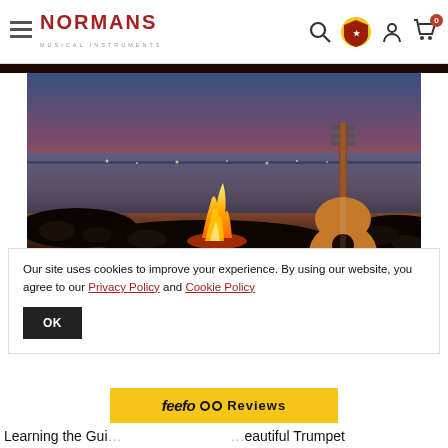NORMANS MUSICAL INSTRUMENTS
[Figure (photo): Beach campfire scene at sunset/dusk with an acoustic guitar leaning against rocks, body of water and city lights in background, warm orange fire flames in center]
Our site uses cookies to improve your experience. By using our website, you agree to our Privacy Policy and Cookie Policy
OK
[Figure (logo): Feefo Reviews logo badge on yellow background]
Learning the Gui... ...eautiful Trumpet